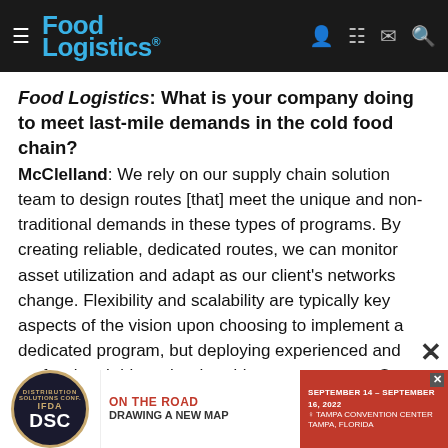Food Logistics (navigation bar with logo and icons)
Food Logistics: What is your company doing to meet last-mile demands in the cold food chain?
McClelland: We rely on our supply chain solution team to design routes [that] meet the unique and non-traditional demands in these types of programs. By creating reliable, dedicated routes, we can monitor asset utilization and adapt as our client's networks change. Flexibility and scalability are typically key aspects of the vision upon choosing to implement a dedicated program, but deploying experienced and professional drivers is what drives our success. Our drivers must protect the shippers' brand to their end... erated by a Ken...
[Figure (other): Advertisement banner for IFDA DSC (Distribution Solutions Conference) - On The Road Drawing A New Map, September 14-16, 2022, Tampa Convention Center, Tampa, Florida]